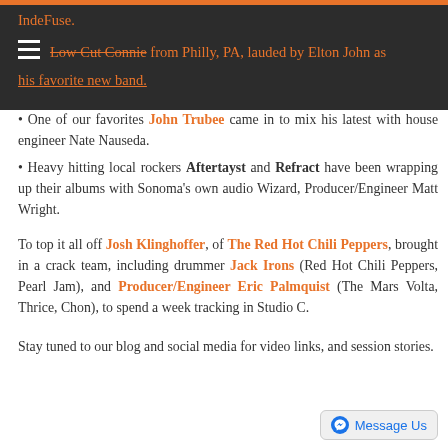IndeFuse. Low Cut Connie from Philly, PA, lauded by Elton John as his favorite new band.
One of our favorites John Trubee came in to mix his latest with house engineer Nate Nauseda.
Heavy hitting local rockers Aftertayst and Refract have been wrapping up their albums with Sonoma's own audio Wizard, Producer/Engineer Matt Wright.
To top it all off Josh Klinghoffer, of The Red Hot Chili Peppers, brought in a crack team, including drummer Jack Irons (Red Hot Chili Peppers, Pearl Jam), and Producer/Engineer Eric Palmquist (The Mars Volta, Thrice, Chon), to spend a week tracking in Studio C.
Stay tuned to our blog and social media for video links, and session stories.